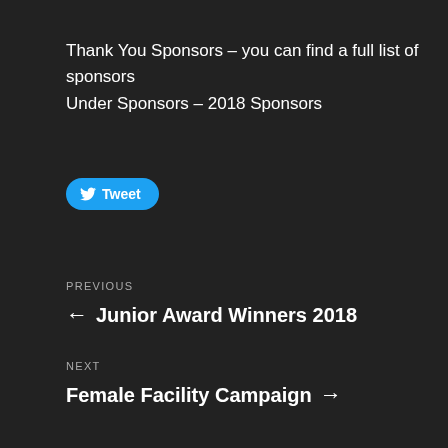Thank You Sponsors – you can find a full list of sponsors Under Sponsors – 2018 Sponsors
[Figure (other): Twitter Tweet button with bird icon]
PREVIOUS
← Junior Award Winners 2018
NEXT
Female Facility Campaign →